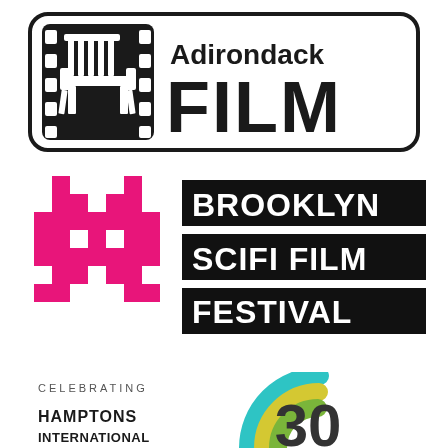[Figure (logo): Adirondack Film logo with film strip icon showing an Adirondack chair and bold FILM text]
[Figure (logo): Brooklyn SciFi Film Festival logo with pink pixel space invader alien and bold white text on black bars]
[Figure (logo): Hamptons International Film Festival logo with CELEBRATING text and 30th anniversary arc design in teal, yellow, and green]